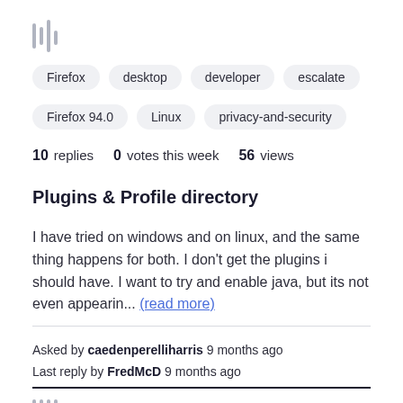[Figure (logo): Stack-like bar icon (library/bookmark icon) in gray]
Firefox
desktop
developer
escalate
Firefox 94.0
Linux
privacy-and-security
10 replies  0 votes this week  56 views
Plugins & Profile directory
I have tried on windows and on linux, and the same thing happens for both. I don't get the plugins i should have. I want to try and enable java, but its not even appearin... (read more)
Asked by caedenperelliharris 9 months ago
Last reply by FredMcD 9 months ago
[Figure (logo): Stack-like bar icon (library/bookmark icon) in gray, partially visible at bottom]